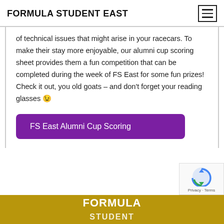FORMULA STUDENT EAST
of technical issues that might arise in your racecars. To make their stay more enjoyable, our alumni cup scoring sheet provides them a fun competition that can be completed during the week of FS East for some fun prizes! Check it out, you old goats – and don't forget your reading glasses 😉
FS East Alumni Cup Scoring
[Figure (logo): Formula Student footer bar with golden/brown background showing FORMULA STUDENT text in white bold letters]